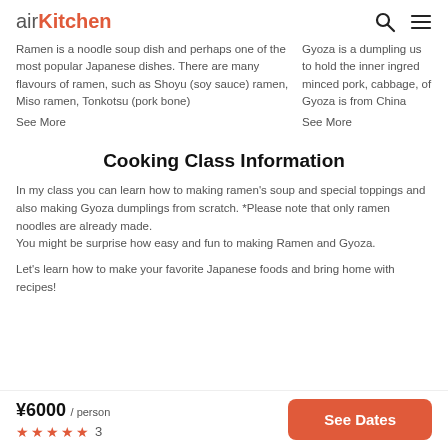airKitchen [search] [menu]
Ramen is a noodle soup dish and perhaps one of the most popular Japanese dishes. There are many flavours of ramen, such as Shoyu (soy sauce) ramen, Miso ramen, Tonkotsu (pork bone)
See More
Gyoza is a dumpling us to hold the inner ingred minced pork, cabbage, of Gyoza is from China
See More
Cooking Class Information
In my class you can learn how to making ramen’s soup and special toppings and also making Gyoza dumplings from scratch. *Please note that only ramen noodles are already made.
You might be surprise how easy and fun to making Ramen and Gyoza.
Let’s learn how to make your favorite Japanese foods and bring home with recipes!
¥6000 / person ★★★★★ 3
See Dates